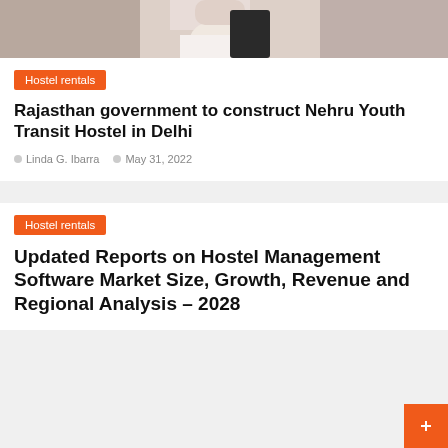[Figure (photo): Partial photo of a person in white clothing, visible from chest up, hand raised near face]
Hostel rentals
Rajasthan government to construct Nehru Youth Transit Hostel in Delhi
Linda G. Ibarra   May 31, 2022
Hostel rentals
Updated Reports on Hostel Management Software Market Size, Growth, Revenue and Regional Analysis – 2028